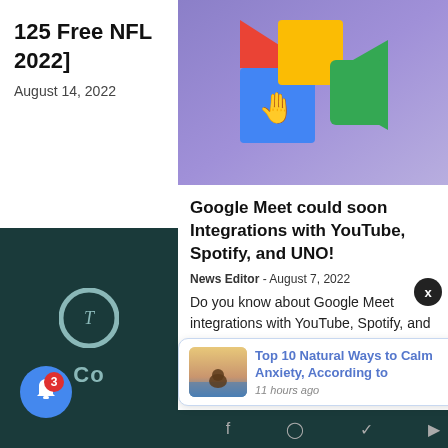125 Free NFL 2022]
August 14, 2022
[Figure (logo): Circular logo watermark on dark teal background]
Co
[Figure (illustration): Google Meet logo on purple/blue gradient background with colorful blocks and waving hand emoji]
Google Meet could soon Integrations with YouTube, Spotify, and UNO!
News Editor - August 7, 2022
Do you know about Google Meet integrations with YouTube, Spotify, and UNO? A few days ago, Google started
[Figure (photo): Person meditating on beach at sunset]
Top 10 Natural Ways to Calm Anxiety, According to
11 hours ago